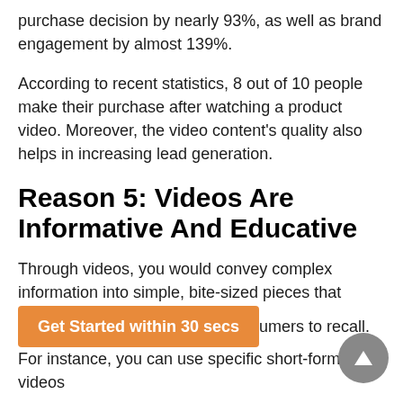purchase decision by nearly 93%, as well as brand engagement by almost 139%.
According to recent statistics, 8 out of 10 people make their purchase after watching a product video. Moreover, the video content's quality also helps in increasing lead generation.
Reason 5: Videos Are Informative And Educative
Through videos, you would convey complex information into simple, bite-sized pieces that consumers to recall. For instance, you can use specific short-form videos